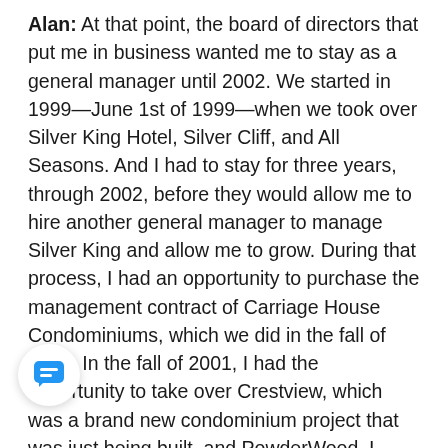Alan: At that point, the board of directors that put me in business wanted me to stay as a general manager until 2002. We started in 1999—June 1st of 1999—when we took over Silver King Hotel, Silver Cliff, and All Seasons. And I had to stay for three years, through 2002, before they would allow me to hire another general manager to manage Silver King and allow me to grow. During that process, I had an opportunity to purchase the management contract of Carriage House Condominiums, which we did in the fall of 2002. In the fall of 2001, I had the opportunity to take over Crestview, which was a brand new condominium project that was just being built, and PowderWood. I purchased that management contract from Donna Van Buren, Greater Park Properties, and we opened the Crestview a stay by 302 secret service guys on January 17 for the 2002 Olympics. Then in the fall of 2002, I
[Figure (other): Chat bubble icon — circular white button with a speech bubble icon in blue, positioned in the lower left corner of the page.]